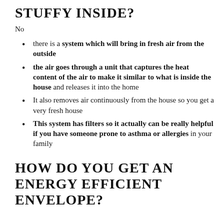STUFFY INSIDE?
No
there is a system which will bring in fresh air from the outside
the air goes through a unit that captures the heat content of the air to make it similar to what is inside the house and releases it into the home
It also removes air continuously from the house so you get a very fresh house
This system has filters so it actually can be really helpful if you have someone prone to asthma or allergies in your family
HOW DO YOU GET AN ENERGY EFFICIENT ENVELOPE?